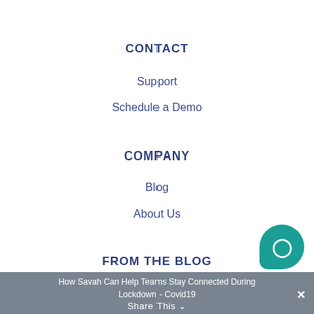CONTACT
Support
Schedule a Demo
COMPANY
Blog
About Us
FROM THE BLOG
A step by step guide to design thinking process
How Savah Can Help Teams Stay Connected During Lockdown - Covid19
Share This ∨
✕